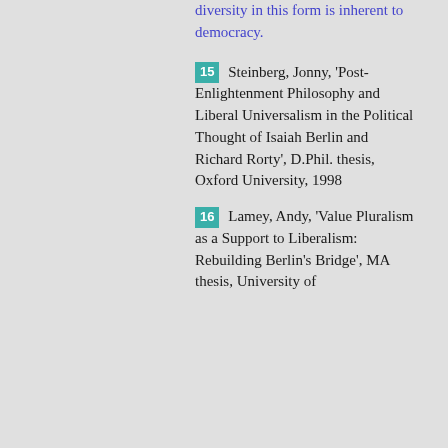diversity in this form is inherent to democracy.
15  Steinberg, Jonny, 'Post-Enlightenment Philosophy and Liberal Universalism in the Political Thought of Isaiah Berlin and Richard Rorty', D.Phil. thesis, Oxford University, 1998
16  Lamey, Andy, 'Value Pluralism as a Support to Liberalism: Rebuilding Berlin's Bridge', MA thesis, University of...